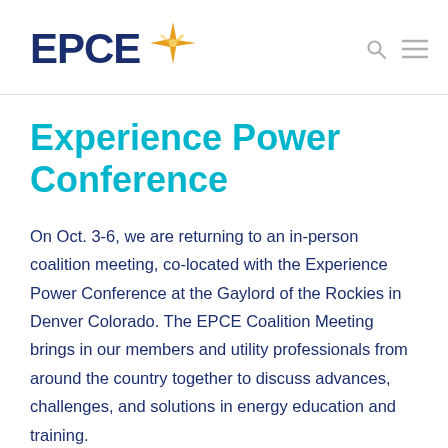EPCE [logo with star]
Experience Power Conference
On Oct. 3-6, we are returning to an in-person coalition meeting, co-located with the Experience Power Conference at the Gaylord of the Rockies in Denver Colorado. The EPCE Coalition Meeting brings in our members and utility professionals from around the country together to discuss advances, challenges, and solutions in energy education and training.